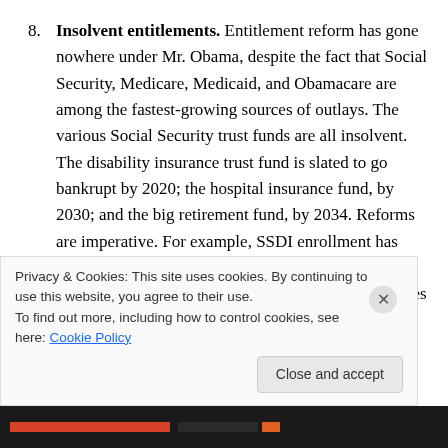8. Insolvent entitlements. Entitlement reform has gone nowhere under Mr. Obama, despite the fact that Social Security, Medicare, Medicaid, and Obamacare are among the fastest-growing sources of outlays. The various Social Security trust funds are all insolvent. The disability insurance trust fund is slated to go bankrupt by 2020; the hospital insurance fund, by 2030; and the big retirement fund, by 2034. Reforms are imperative. For example, SSDI enrollment has exploded over the past twenty years from 2.8 percent of the working-age population to 5.1 percent; lax rules
Privacy & Cookies: This site uses cookies. By continuing to use this website, you agree to their use. To find out more, including how to control cookies, see here: Cookie Policy